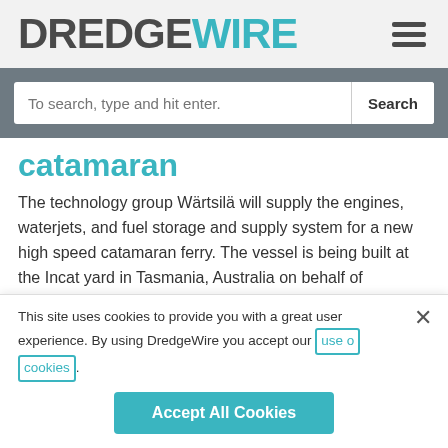DREDGEWIRE
catamaran
The technology group Wärtsilä will supply the engines, waterjets, and fuel storage and supply system for a new high speed catamaran ferry. The vessel is being built at the Incat yard in Tasmania, Australia on behalf of Argentinian ferry operator, Buquebus. Having an overall length of 130
This site uses cookies to provide you with a great user experience. By using DredgeWire you accept our use of cookies.
Accept All Cookies